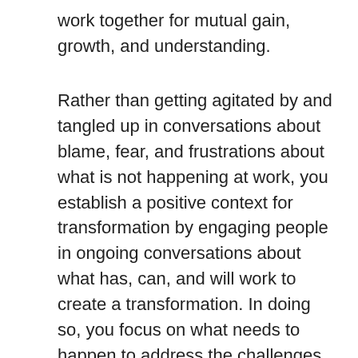work together for mutual gain, growth, and understanding.
Rather than getting agitated by and tangled up in conversations about blame, fear, and frustrations about what is not happening at work, you establish a positive context for transformation by engaging people in ongoing conversations about what has, can, and will work to create a transformation. In doing so, you focus on what needs to happen to address the challenges and, with that focus and commitment, you develop into the best company possible. Rather than trying to fix the past, or dwell on it, you focus on bringing lessons from the past forward into creating the